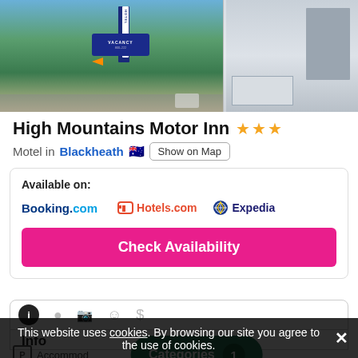[Figure (photo): Two photos side by side: left shows exterior of High Mountains Motor Inn motel with hotel sign and vacancy board among green shrubs and blue sky; right shows interior bathroom with shower]
High Mountains Motor Inn ★★★
Motel in Blackheath 🇦🇺  Show on Map
Available on:
Booking.com    Hotels.com    Expedia
Check Availability
Info
Accommod... Categories 1
This website uses cookies. By browsing our site you agree to the use of cookies.